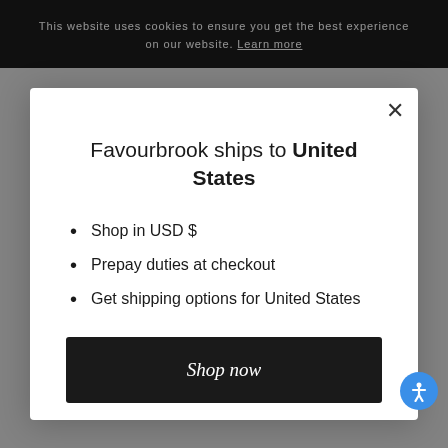This website uses cookies to ensure you get the best experience on our website. Learn more
Favourbrook ships to United States
Shop in USD $
Prepay duties at checkout
Get shipping options for United States
Shop now
Change shipping country